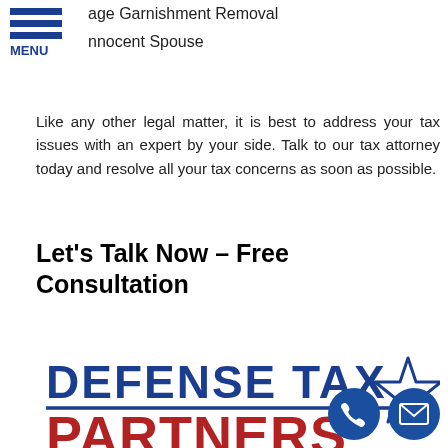age Garnishment Removal
nnocent Spouse
MENU
Like any other legal matter, it is best to address your tax issues with an expert by your side. Talk to our tax attorney today and resolve all your tax concerns as soon as possible.
Let's Talk Now – Free Consultation
[Figure (logo): Defense Tax Partners logo with blue text 'DEFENSE TAX' and red text 'PARTNERS' with a blue star outline on the right, and a dark blue horizontal line separating the two lines of text.]
Time is of the essence when it comes to your tax debts. The longer you wait to address it, the more interests and penalties you will accrue. So before the IRS can even levy your properties or empty your bank accounts, seek help for your tax problems right away.